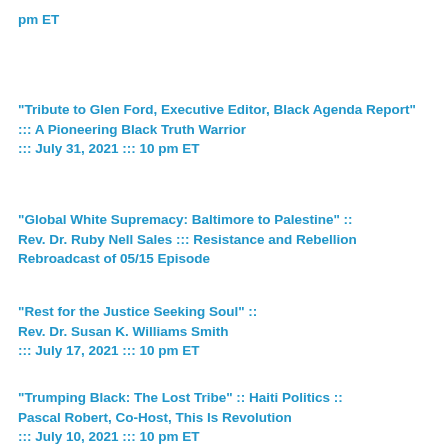pm ET
"Tribute to Glen Ford, Executive Editor, Black Agenda Report" ::: A Pioneering Black Truth Warrior
::: July 31, 2021 ::: 10 pm ET
"Global White Supremacy: Baltimore to Palestine" ::
Rev. Dr. Ruby Nell Sales ::: Resistance and Rebellion Rebroadcast of 05/15 Episode
"Rest for the Justice Seeking Soul" ::
Rev. Dr. Susan K. Williams Smith
::: July 17, 2021 ::: 10 pm ET
"Trumping Black: The Lost Tribe" :: Haiti Politics ::
Pascal Robert, Co-Host, This Is Revolution
::: July 10, 2021 ::: 10 pm ET